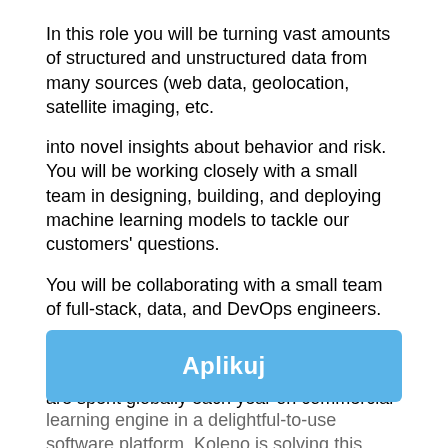In this role you will be turning vast amounts of structured and unstructured data from many sources (web data, geolocation, satellite imaging, etc.
into novel insights about behavior and risk. You will be working closely with a small team in designing, building, and deploying machine learning models to tackle our customers' questions.
You will be collaborating with a small team of full-stack, data, and DevOps engineers.
Every business on the planet needs insurance. Nearly one trillion ($1T) dollars are spent globally each year on commercial insurance to protect businesses from fires, injuries, lawsuits, etc.
However, commercial insurance is plagued with a big problem. Businesses and insurers don't trust each other. This leads to a lot of economic waste.
Missed opportunities, mispricing, and mistakes. Everyone
[Figure (other): Blue button overlay with text 'Aplikuj']
learning engine in a delightful-to-use software platform, Koleno is solving this problem and turning every